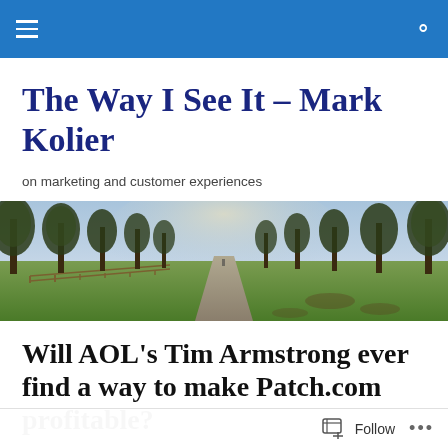The Way I See It – Mark Kolier
on marketing and customer experiences
[Figure (photo): A tree-lined path or road receding into the distance, with tall trees on both sides, green grass, and a wooden fence on the left. Natural outdoor daylight scene.]
Will AOL's Tim Armstrong ever find a way to make Patch.com profitable?
Follow